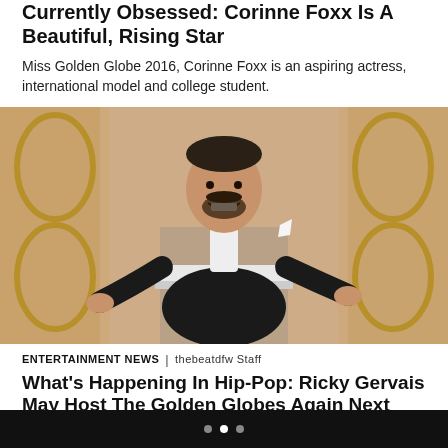Currently Obsessed: Corinne Foxx Is A Beautiful, Rising Star
Miss Golden Globe 2016, Corinne Foxx is an aspiring actress, international model and college student.
[Figure (photo): Man in black tuxedo with white pocket square stands at a podium with arms spread wide, smiling, with a glass of beer on the podium. Golden Globe Awards stage background with decorative gold panels.]
ENTERTAINMENT NEWS | thebeatdfw Staff
What's Happening In Hip-Pop: Ricky Gervais May Host The Golden Globes Again Next Year,